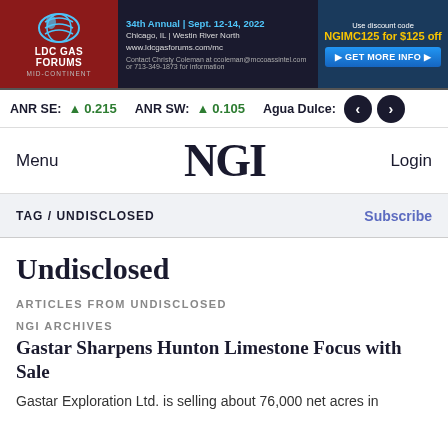[Figure (other): LDC Gas Forums Mid-Continent banner advertisement. 34th Annual | Sept. 12-14, 2022. Chicago, IL | Westin River North. www.ldcgasforums.com/mc. Contact Christy Coleman at ccoleman@mccoassintel.com or 713-349-1873 for information. Use discount code NGIMC125 for $125 off. GET MORE INFO button.]
ANR SE: ▲ 0.215   ANR SW: ▲ 0.105   Agua Dulce:
Menu   NGI   Login
TAG / UNDISCLOSED   Subscribe
Undisclosed
ARTICLES FROM UNDISCLOSED
NGI ARCHIVES
Gastar Sharpens Hunton Limestone Focus with Sale
Gastar Exploration Ltd. is selling about 76,000 net acres in